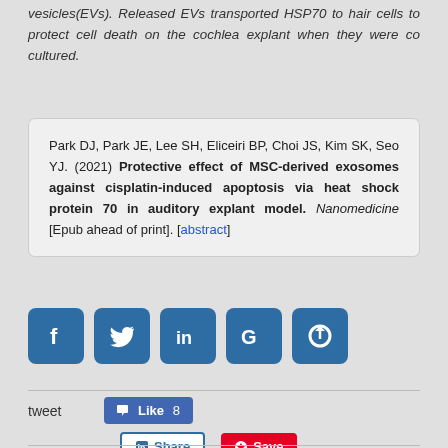vesicles(EVs). Released EVs transported HSP70 to hair cells to protect cell death on the cochlea explant when they were co cultured.
Park DJ, Park JE, Lee SH, Eliceiri BP, Choi JS, Kim SK, Seo YJ. (2021) Protective effect of MSC-derived exosomes against cisplatin-induced apoptosis via heat shock protein 70 in auditory explant model. Nanomedicine [Epub ahead of print]. [abstract]
[Figure (infographic): Social media sharing icons: Facebook (f), Twitter (bird), LinkedIn (in), Google (G), and a share/refresh icon, all in blue rounded squares.]
tweet
Like 8
Share
Save